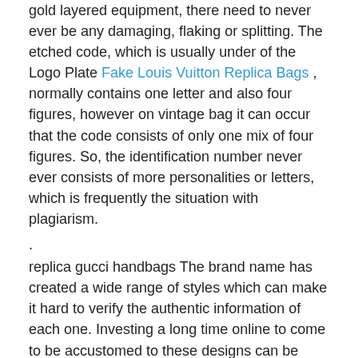gold layered equipment, there need to never ever be any damaging, flaking or splitting. The etched code, which is usually under of the Logo Plate Fake Louis Vuitton Replica Bags , normally contains one letter and also four figures, however on vintage bag it can occur that the code consists of only one mix of four figures. So, the identification number never ever consists of more personalities or letters, which is frequently the situation with plagiarism.
.
replica gucci handbags The brand name has created a wide range of styles which can make it hard to verify the authentic information of each one. Investing a long time online to come to be accustomed to these designs can be exceptionally useful in the process of acquiring a bag. When checking out a natural leather bag, it is essential to keep in mind that actual leather will typically have an imperfect appearance.
.
Ysl replica And the metal hardware is covered with leather.